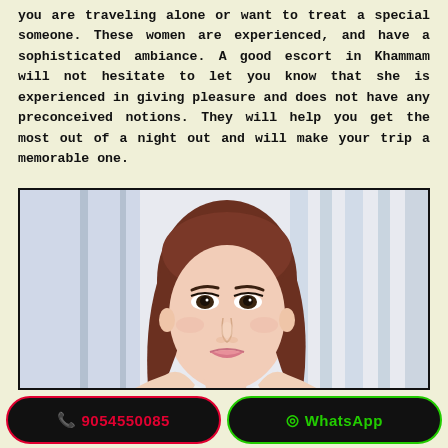you are traveling alone or want to treat a special someone. These women are experienced, and have a sophisticated ambiance. A good escort in Khammam will not hesitate to let you know that she is experienced in giving pleasure and does not have any preconceived notions. They will help you get the most out of a night out and will make your trip a memorable one.
[Figure (photo): Portrait photo of a young woman with long reddish-brown hair, wearing an off-shoulder white top, against a light background with curtains.]
📞 9054550085
WhatsApp